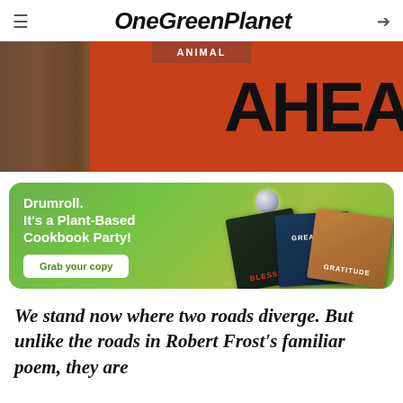OneGreenPlanet
[Figure (photo): Hero image showing a road sign with letters 'AHEA' visible, orange background with wood texture on left, and an 'ANIMAL' category badge overlaid at top center]
[Figure (illustration): Advertisement banner with green gradient background showing Plant-Based Cookbook Party promotion with three book covers (BLESSED, GREATEST, GRATITUDE) and a disco ball, plus a 'Grab your copy' button]
We stand now where two roads diverge. But unlike the roads in Robert Frost's familiar poem, they are